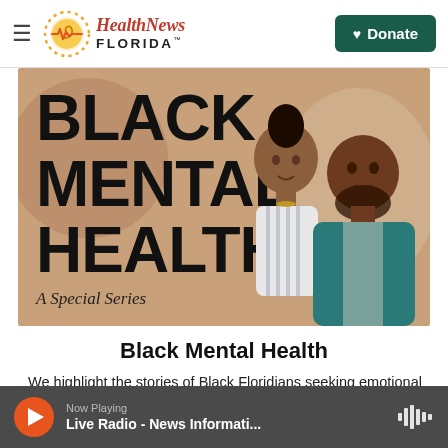HealthNews FLORIDA™
[Figure (illustration): Promotional banner for 'Black Mental Health: A Special Series' showing bold black text on a tan/brown background alongside two illustrated Black figures — a woman with an updo and a man with a beard.]
Black Mental Health
We highlight the stories of Black Floridians seeking emotional healing and wellness.
Now Playing — Live Radio - News Informati...